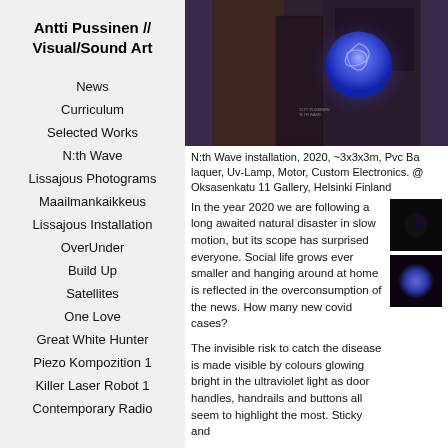Antti Pussinen // Visual/Sound Art
News
Curriculum
Selected Works
N:th Wave
Lissajous Photograms
Maailmankaikkeus
Lissajous Installation
OverUnder
Build Up
Satellites
One Love
Great White Hunter
Piezo Kompozition 1
Killer Laser Robot 1
Contemporary Radio
[Figure (photo): N:th Wave installation showing a glowing blue sphere in a dark industrial space]
N:th Wave installation, 2020, ~3x3x3m, Pvc Ba laquer, Uv-Lamp, Motor, Custom Electronics. @ Oksasenkatu 11 Gallery, Helsinki Finland
In the year 2020 we are following a long awaited natural disaster in slow motion, but its scope has surprised everyone. Social life grows ever smaller and hanging around at home is reflected in the overconsumption of the news. How many new covid cases?
The invisible risk to catch the disease is made visible by colours glowing bright in the ultraviolet light as door handles, handrails and buttons all seem to highlight the most. Sticky and
[Figure (photo): Small thumbnail of dark image]
[Figure (photo): Small thumbnail of glowing blue sphere]